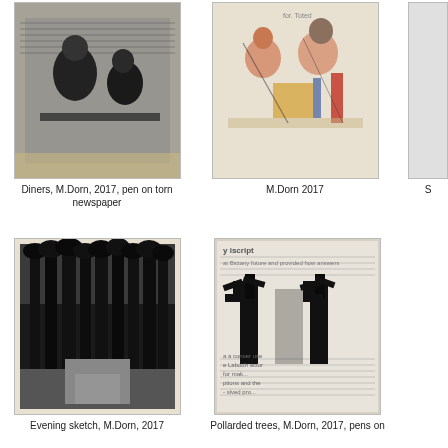[Figure (illustration): Diners artwork by M.Dorn, 2017, pen on torn newspaper. Black and white image of figures dining, drawn over newspaper text.]
Diners, M.Dorn, 2017, pen on torn newspaper
[Figure (illustration): M.Dorn 2017 artwork showing colorful figures seated at a table, sketched in color pencil/pen style.]
M.Dorn 2017
S
[Figure (illustration): Evening sketch by M.Dorn, 2017. Dark black and white image of tall trees in a forest at evening.]
Evening sketch, M.Dorn, 2017
[Figure (illustration): Pollarded trees by M.Dorn, 2017, pens on newspaper. Dark silhouettes of pollarded trees over newspaper text background.]
Pollarded trees, M.Dorn, 2017, pens on